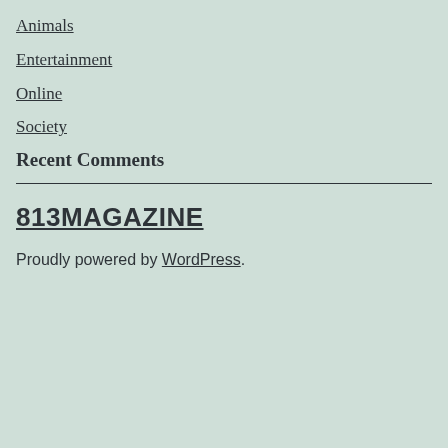Animals
Entertainment
Online
Society
Recent Comments
813MAGAZINE
Proudly powered by WordPress.